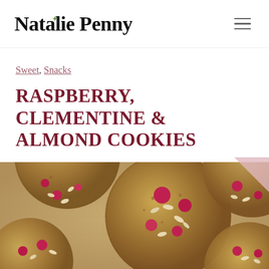Natalie Penny
Sweet, Snacks
RASPBERRY, CLEMENTINE & ALMOND COOKIES
[Figure (photo): Overhead close-up photo of several large round cookies on a light linen surface. The cookies are golden-brown and studded with bright red raspberries and sliced almonds.]